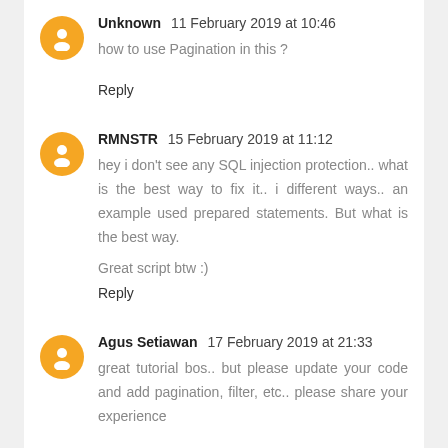Unknown  11 February 2019 at 10:46
how to use Pagination in this ?
Reply
RMNSTR  15 February 2019 at 11:12
hey i don't see any SQL injection protection.. what is the best way to fix it.. i different ways.. an example used prepared statements. But what is the best way.
Great script btw :)
Reply
Agus Setiawan  17 February 2019 at 21:33
great tutorial bos.. but please update your code and add pagination, filter, etc.. please share your experience